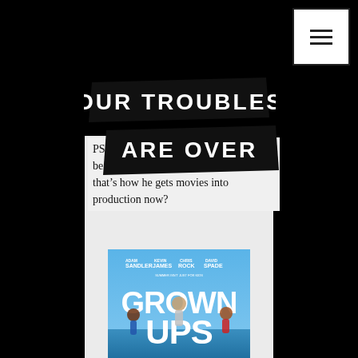[Figure (logo): Website logo with two overlapping black banner strips reading 'OUR TROUBLES' and 'ARE OVER' in white distressed lettering]
[Figure (screenshot): Navigation menu button (hamburger icon) in top right corner, bordered box with three horizontal lines]
PS – [something] he else thinks [something] befriended a Saudi Diamond Prince and that's how he gets movies into production now?
[Figure (photo): Movie poster for 'Grown Ups' featuring Adam Sandler, Kevin James, Chris Rock, David Spade on a blue background]